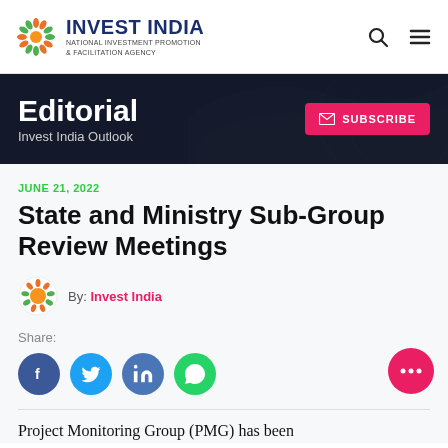INVEST INDIA – NATIONAL INVESTMENT PROMOTION & FACILITATION AGENCY
Editorial – Invest India Outlook
JUNE 21, 2022
State and Ministry Sub-Group Review Meetings
By: Invest India
Share:
Project Monitoring Group (PMG) has been